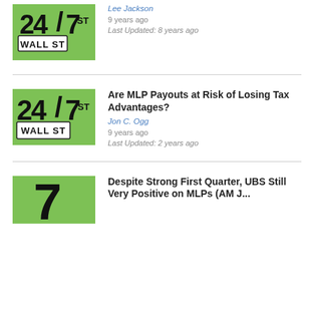[Figure (logo): 24/7 Wall St logo thumbnail - green background with '24/7 WALL ST' text]
Lee Jackson
9 years ago
Last Updated: 8 years ago
[Figure (logo): 24/7 Wall St logo thumbnail - green background with '24/7 WALL ST' text]
Are MLP Payouts at Risk of Losing Tax Advantages?
Jon C. Ogg
9 years ago
Last Updated: 2 years ago
[Figure (logo): 24/7 Wall St logo thumbnail - green background with partial '7' visible]
Despite Strong First Quarter, UBS Still Very Positive on MLPs (AM J...